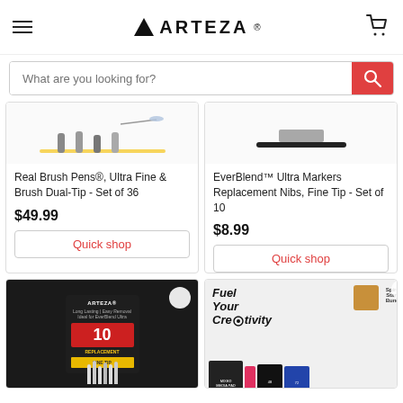ARTEZA
What are you looking for?
Real Brush Pens®, Ultra Fine & Brush Dual-Tip - Set of 36
$49.99
Quick shop
EverBlend™ Ultra Markers Replacement Nibs, Fine Tip - Set of 10
$8.99
Quick shop
[Figure (photo): Arteza product packaging - replacement nibs set of 10]
[Figure (photo): Fuel Your Creativity Spiros Starter Bundle product image]